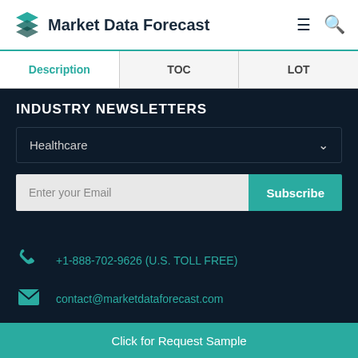Market Data Forecast
| Description | TOC | LOT |
| --- | --- | --- |
INDUSTRY NEWSLETTERS
Healthcare
Enter your Email
Subscribe
+1-888-702-9626 (U.S. TOLL FREE)
contact@marketdataforecast.com
5th Floor, Trendz Pride, Patrika Nagar Rd
Click for Request Sample